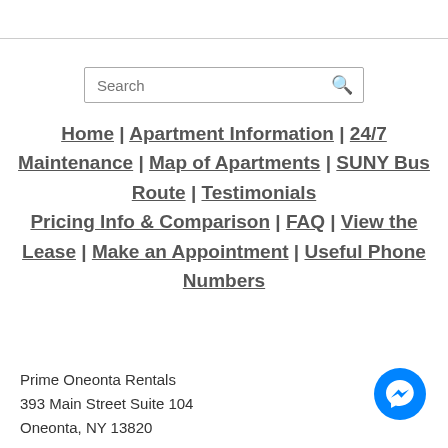[Figure (other): Search input box with magnifying glass icon]
Home | Apartment Information | 24/7 Maintenance | Map of Apartments | SUNY Bus Route | Testimonials Pricing Info & Comparison | FAQ | View the Lease | Make an Appointment | Useful Phone Numbers
Prime Oneonta Rentals
393 Main Street Suite 104
Oneonta, NY 13820
[Figure (illustration): Facebook Messenger blue chat bubble icon]